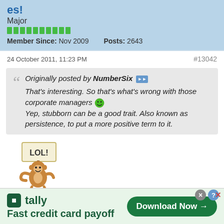es!
Major
Member Since: Nov 2009   Posts: 2643
24 October 2011, 11:23 PM
#13042
Originally posted by NumberSix
That's interesting. So that's what's wrong with those corporate managers
Yep, stubborn can be a good trait. Also known as persistence, to put a more positive term to it.
[Figure (illustration): LOL monkey holding a sign that says LOL!]
Originally posted by NumberSix
tally
Fast credit card payoff
Download Now